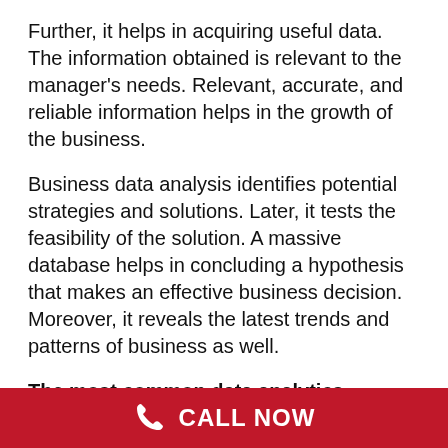Further, it helps in acquiring useful data. The information obtained is relevant to the manager's needs. Relevant, accurate, and reliable information helps in the growth of the business.
Business data analysis identifies potential strategies and solutions. Later, it tests the feasibility of the solution. A massive database helps in concluding a hypothesis that makes an effective business decision. Moreover, it reveals the latest trends and patterns of business as well.
The most common data analytics technique are:
Data Mining: Identification of trends, patterns, and relationships by sorting large data sets.
CALL NOW